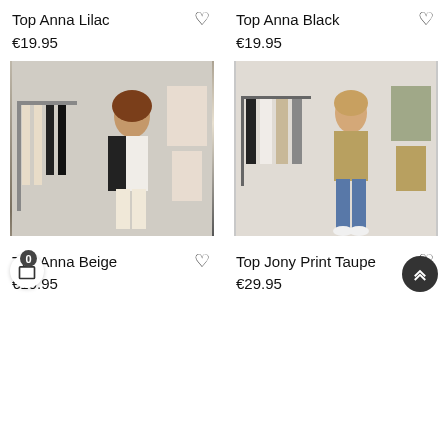Top Anna Lilac
€19.95
Top Anna Black
€19.95
[Figure (photo): Woman wearing patterned black and white outfit standing in front of clothing rack in a store.]
[Figure (photo): Woman wearing leopard print top with blue jeans standing in front of clothing rack in a store.]
Top Anna Beige
€19.95
Top Jony Print Taupe
€29.95